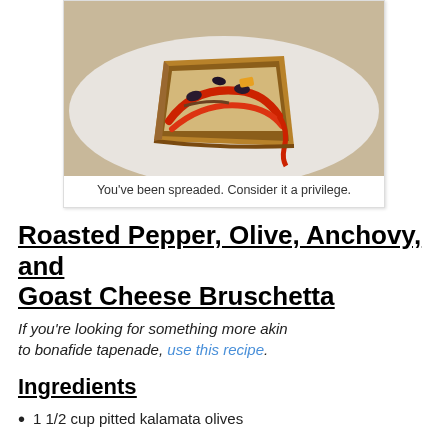[Figure (photo): Photo of bruschetta with roasted peppers, olives, and cheese on a white plate, cut open to show filling]
You've been spreaded. Consider it a privilege.
Roasted Pepper, Olive, Anchovy, and Goast Cheese Bruschetta
If you're looking for something more akin to bonafide tapenade, use this recipe.
Ingredients
1 1/2 cup pitted kalamata olives